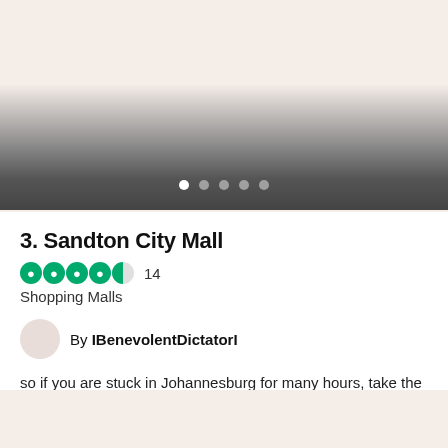[Figure (photo): Top image area fading to dark gray/charcoal with carousel navigation dots]
3. Sandton City Mall
4.5 stars rating, 14 reviews
Shopping Malls
By IBenevolentDictatorI
so if you are stuck in Johannesburg for many hours, take the train out to Sandton and the Nelson Mandela Square....